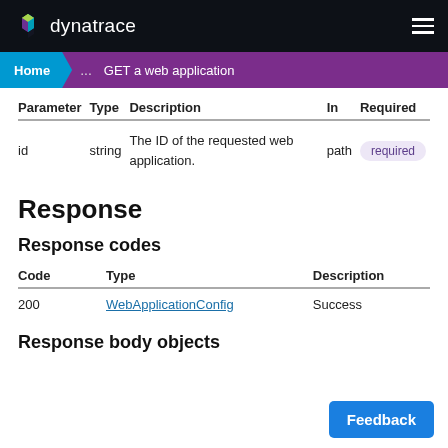dynatrace
Home ... GET a web application
| Parameter | Type | Description | In | Required |
| --- | --- | --- | --- | --- |
| id | string | The ID of the requested web application. | path | required |
Response
Response codes
| Code | Type | Description |
| --- | --- | --- |
| 200 | WebApplicationConfig | Success |
Response body objects